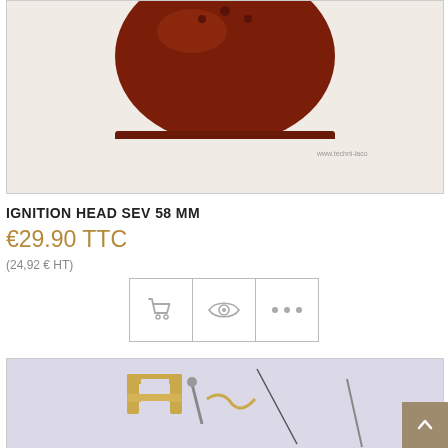[Figure (photo): Close-up photo of a dark reddish-brown ignition head (distributor cap) part, viewed from above, on a light beige background. Watermark text 'www.techni-laco' visible bottom right.]
IGNITION HEAD SEV 58 MM
€29.90 TTC
(24,92 € HT)
[Figure (screenshot): Three action icon buttons: shopping cart icon, eye/view icon, and three dots (more options) icon, each in a square border.]
[Figure (photo): Photo of brass/gold-colored automotive ignition contact parts (points and spring clips) on a light gray/purple background.]